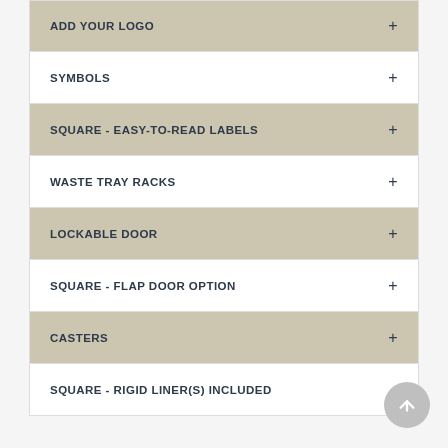ADD YOUR LOGO
SYMBOLS
SQUARE - EASY-TO-READ LABELS
WASTE TRAY RACKS
LOCKABLE DOOR
SQUARE - FLAP DOOR OPTION
CASTERS
SQUARE - RIGID LINER(S) INCLUDED